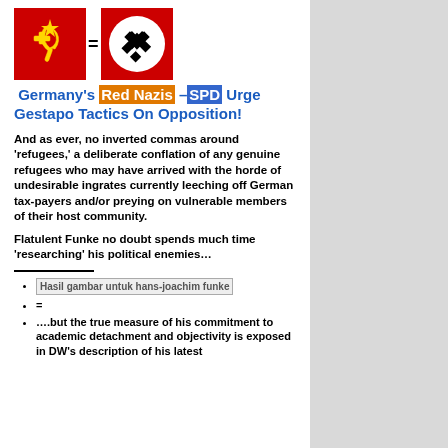[Figure (illustration): Two red square icons side by side with an equals sign between them. Left icon shows hammer and sickle (communist symbol) in yellow on red background. Right icon shows swastika (Nazi symbol) in black on white circle on red background.]
Germany's Red Nazis –SPD Urge Gestapo Tactics On Opposition!
And as ever, no inverted commas around 'refugees,' a deliberate conflation of any genuine refugees who may have arrived with the horde of undesirable ingrates currently leeching off German tax-payers and/or preying on vulnerable members of their host community.
Flatulent Funke no doubt spends much time 'researching' his political enemies…
Hasil gambar untuk hans-joachim funke
=
….but the true measure of his commitment to academic detachment and objectivity is exposed in DW's description of his latest